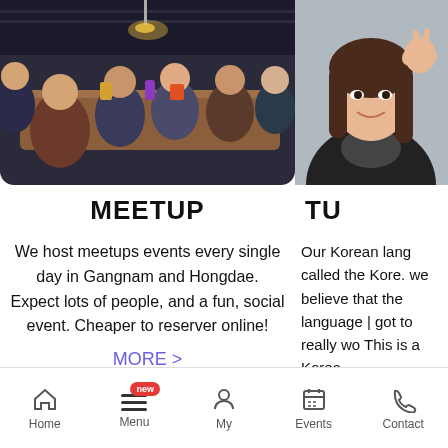[Figure (photo): Group of people sitting around a wooden table at a social meetup event in Korea]
[Figure (photo): Young Korean woman making a peace sign with her hand, wearing a dark jacket]
MEETUP
We host meetups events every single day in Gangnam and Hongdae. Expect lots of people, and a fun, social event. Cheaper to reserver online!
MORE >
TU
Our Korean lang called the Kore. we believe that the language | got to really wo This is a Korea
Home  Menu  My  Events  Contact